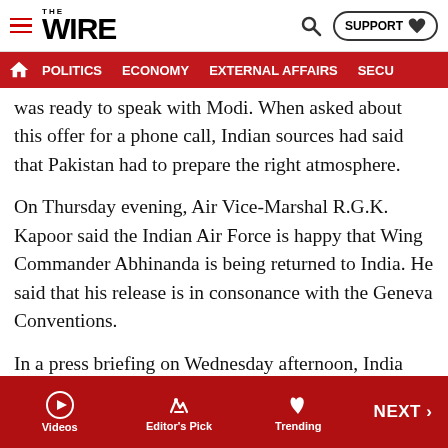THE WIRE — POLITICS | ECONOMY | EXTERNAL AFFAIRS | SECU...
was ready to speak with Modi. When asked about this offer for a phone call, Indian sources had said that Pakistan had to prepare the right atmosphere.
On Thursday evening, Air Vice-Marshal R.G.K. Kapoor said the Indian Air Force is happy that Wing Commander Abhinanda is being returned to India. He said that his release is in consonance with the Geneva Conventions.
In a press briefing on Wednesday afternoon, India officially confirmed that one Indian pilot was “missing in action” after an aerial skirmish with Pakistani fighter jets.
India had called for the “immediate and safe return” of the Indian pilot identified as Wing Commander Abhinanda...
Videos | Editor's Pick | Trending | NEXT >